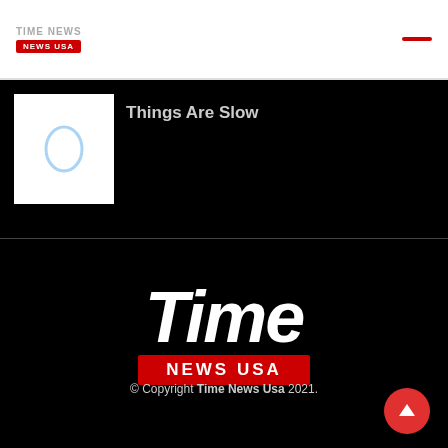Time News USA
Things Are Slow
[Figure (logo): Time News USA large footer logo with italic white 'Time' text and red banner with 'NEWS USA']
© Copyright Time News Usa 2021.